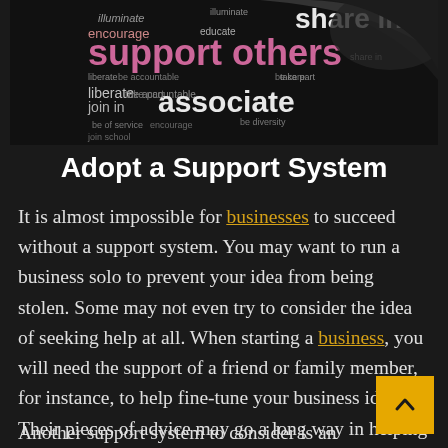[Figure (illustration): Word cloud image on dark background featuring words like 'encourage', 'educate', 'share in', 'support others', 'liberate', 'join in', 'associate' in various colors including pink, white, and purple]
Adopt a Support System
It is almost impossible for businesses to succeed without a support system. You may want to run a business solo to prevent your idea from being stolen. Some may not even try to consider the idea of seeking help at all. When starting a business, you will need the support of a friend or family member, for instance, to help fine-tune your business idea. Their pieces of advice may go a long way in helping you attain speedy growth.
Another support system to consider is an